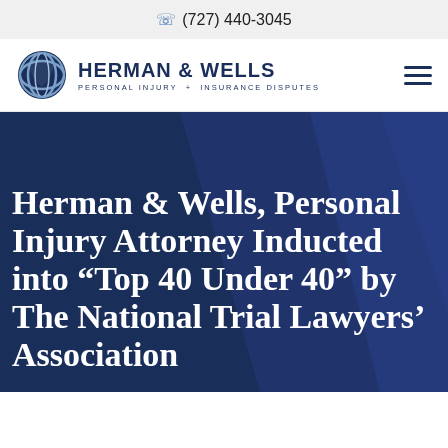(727) 440-3045
[Figure (logo): Herman & Wells law firm logo with globe icon, tagline: PERSONAL INJURY + INSURANCE DISPUTES]
Herman & Wells, Personal Injury Attorney Inducted into “Top 40 Under 40” by The National Trial Lawyers’ Association